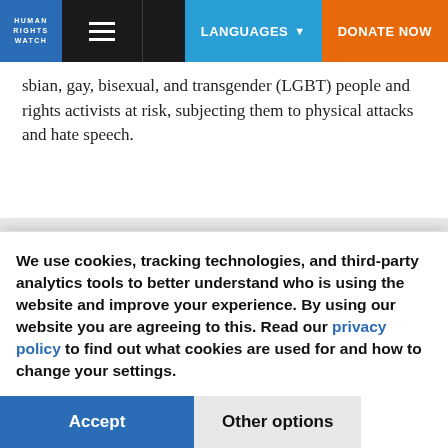HUMAN RIGHTS WATCH | LANGUAGES | DONATE NOW
sbian, gay, bisexual, and transgender (LGBT) people and rights activists at risk, subjecting them to physical attacks and hate speech.
The government proposed legislative amendments that threaten freedom of expression and media. Journalists and media workers faced harassment and
We use cookies, tracking technologies, and third-party analytics tools to better understand who is using the website and improve your experience. By using our website you are agreeing to this. Read our privacy policy to find out what cookies are used for and how to change your settings.
Accept | Other options